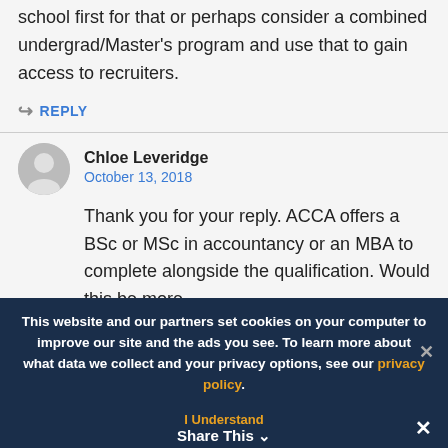university degree. So, you would have to go back to school first for that or perhaps consider a combined undergrad/Master's program and use that to gain access to recruiters.
REPLY
Chloe Leveridge
October 13, 2018
Thank you for your reply. ACCA offers a BSc or MSc in accountancy or an MBA to complete alongside the qualification. Would this be more
This website and our partners set cookies on your computer to improve our site and the ads you see. To learn more about what data we collect and your privacy options, see our privacy policy.
I Understand
Share This